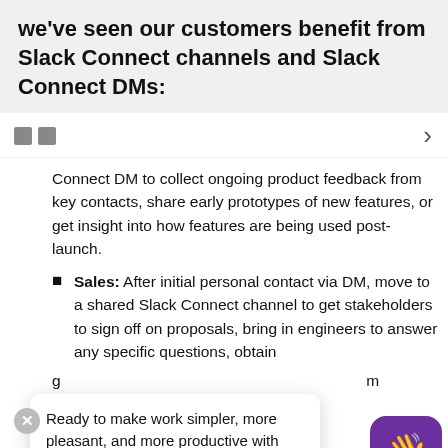we've seen our customers benefit from Slack Connect channels and Slack Connect DMs:
Connect DM to collect ongoing product feedback from key contacts, share early prototypes of new features, or get insight into how features are being used post-launch.
Sales: After initial personal contact via DM, move to a shared Slack Connect channel to get stakeholders to sign off on proposals, bring in engineers to answer any specific questions, obtain g...m to a...
Cu... Slack Connect DM to help debug
Ready to make work simpler, more pleasant, and more productive with Slack? ✳